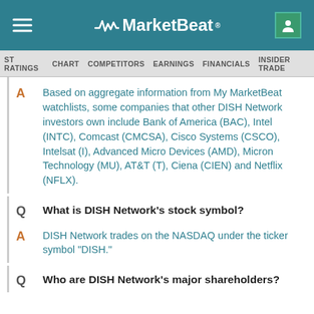MarketBeat
ST RATINGS  CHART  COMPETITORS  EARNINGS  FINANCIALS  INSIDER TRADE
Based on aggregate information from My MarketBeat watchlists, some companies that other DISH Network investors own include Bank of America (BAC), Intel (INTC), Comcast (CMCSA), Cisco Systems (CSCO), Intelsat (I), Advanced Micro Devices (AMD), Micron Technology (MU), AT&T (T), Ciena (CIEN) and Netflix (NFLX).
What is DISH Network's stock symbol?
DISH Network trades on the NASDAQ under the ticker symbol "DISH."
Who are DISH Network's major shareholders?